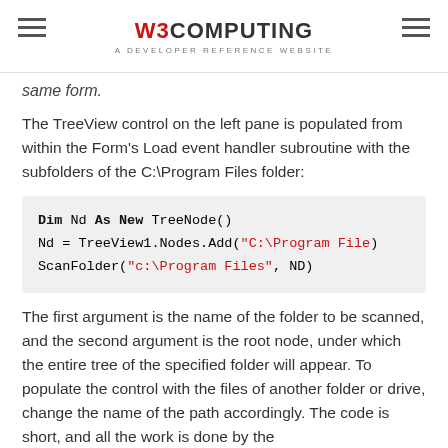W3COMPUTING — A DEVELOPER REFERENCE WEBSITE
same form.
The TreeView control on the left pane is populated from within the Form's Load event handler subroutine with the subfolders of the C:\Program Files folder:
Dim Nd As New TreeNode()
Nd = TreeView1.Nodes.Add("C:\Program File
ScanFolder("c:\Program Files", ND)
The first argument is the name of the folder to be scanned, and the second argument is the root node, under which the entire tree of the specified folder will appear. To populate the control with the files of another folder or drive, change the name of the path accordingly. The code is short, and all the work is done by the